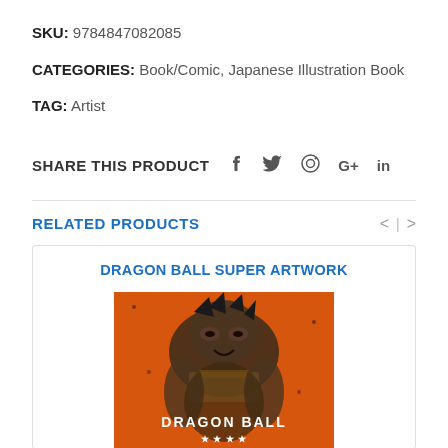SKU: 9784847082085
CATEGORIES: Book/Comic, Japanese Illustration Book
TAG: Artist
SHARE THIS PRODUCT  f  (twitter)  (pinterest)  G+  in
RELATED PRODUCTS
DRAGON BALL SUPER ARTWORK
[Figure (photo): Dragon Ball Super Artwork book cover showing a large muscular character on an orange background with 'DRAGON BALL' text]